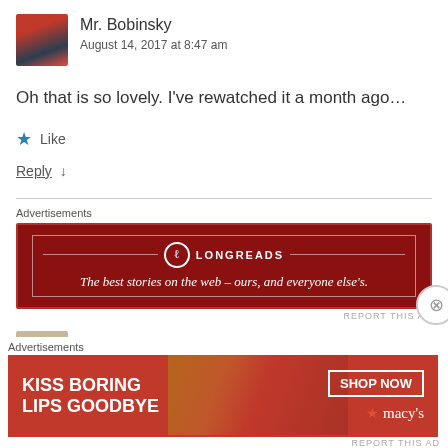[Figure (photo): Avatar thumbnail of Mr. Bobinsky — a painted winter forest scene with red sky]
Mr. Bobinsky
August 14, 2017 at 8:47 am
Oh that is so lovely. I've rewatched it a month ago...
★ Like
Reply ↓
[Figure (infographic): Longreads advertisement — dark red banner reading 'The best stories on the web – ours, and everyone else's.']
REPORT THIS AD
[Figure (photo): Avatar thumbnail for Spoken Like A True Nut — illustration of a dog/cat face]
Spoken Like A True Nut
[Figure (infographic): Macy's advertisement — red banner with woman's face, text KISS BORING LIPS GOODBYE, SHOP NOW button, macy's logo]
REPORT THIS AD